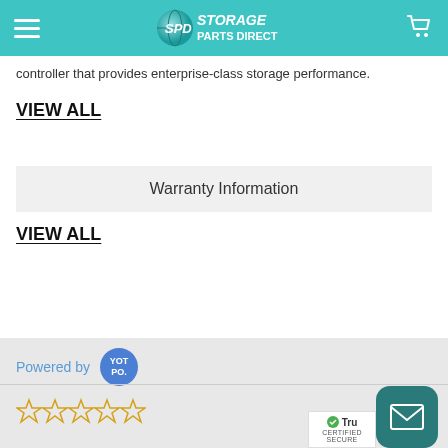SPD Storage Parts Direct
controller that provides enterprise-class storage performance.
VIEW ALL
Warranty Information
VIEW ALL
Powered by YOTPO
[Figure (other): Five empty star rating icons in gold/yellow outline]
[Figure (other): Mail/envelope button in teal rounded square]
[Figure (other): TrustedSite CERTIFIED SECURE badge]